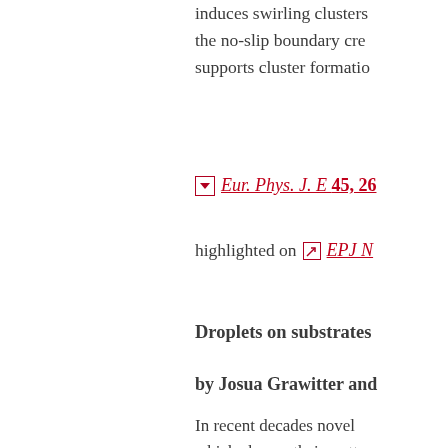induces swirling clusters the no-slip boundary cre supports cluster formatio
Eur. Phys. J. E 45, 26
highlighted on EPJ N
Droplets on substrates
by Josua Grawitter and
In recent decades novel which change their wetta electrostatic field. Here, with oscillating uniform w maximum contact angle [Grawitter and Stark, So